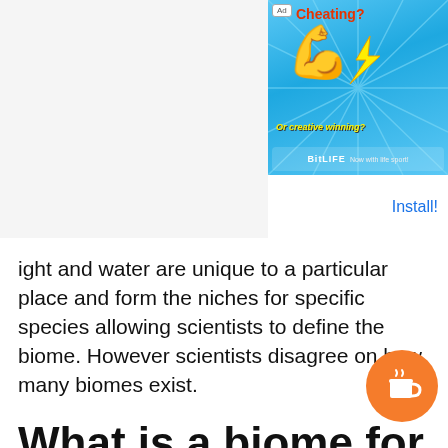[Figure (screenshot): Advertisement banner for BitLife game showing 'Cheating? Or creative winning?' with muscle emoji and lightning bolt on blue background]
ight and water are unique to a particular place and form the niches for specific species allowing scientists to define the biome. However scientists disagree on how many biomes exist.
What is a biome for kids?
Biomes are regions of the world with similar climate (weather temperature) animals and plants. There are terrestrial biomes (land) and aquatic biomes both freshwater and